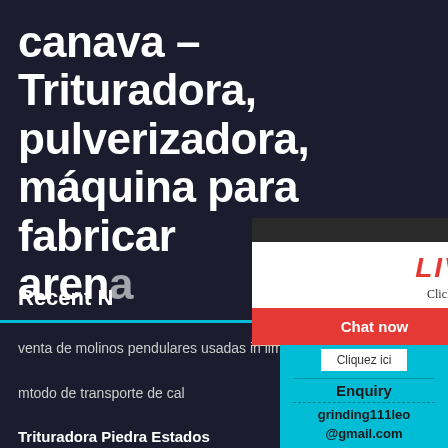canava – Trituradora, pulverizadora, máquina para fabricar arena
Recent N
[Figure (screenshot): Live Chat popup overlay showing workers in hard hats, LIVE CHAT text in red, 'Click for a Free Consultation', Chat now and Chat later buttons, and a customer service agent on the right]
[Figure (infographic): Right sidebar with teal background showing EN LIGNE badge, agent photo, VOUS AVEZ DES text, Cliquez ici button, Enquiry link, and grinding111leo@gmail.com email]
venta de molinos pendulares usadas in lima
mtodo de transporte de cal
Trituradora Piedra Estados